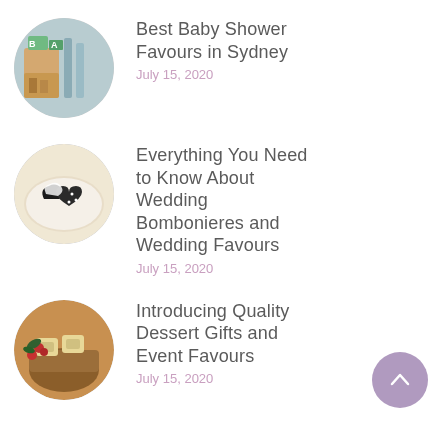Best Baby Shower Favours in Sydney — July 15, 2020
Everything You Need to Know About Wedding Bombonieres and Wedding Favours — July 15, 2020
Introducing Quality Dessert Gifts and Event Favours — July 15, 2020